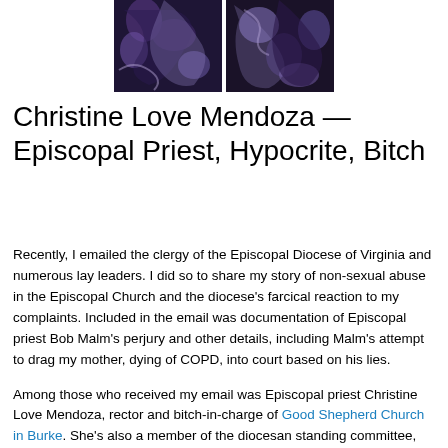[Figure (photo): Cropped photo of Christine Love Mendoza, showing swirling purple and dark patterned fabric/background]
Christine Love Mendoza — Episcopal Priest, Hypocrite, Bitch
Recently, I emailed the clergy of the Episcopal Diocese of Virginia and numerous lay leaders. I did so to share my story of non-sexual abuse in the Episcopal Church and the diocese's farcical reaction to my complaints. Included in the email was documentation of Episcopal priest Bob Malm's perjury and other details, including Malm's attempt to drag my mother, dying of COPD, into court based on his lies.
Among those who received my email was Episcopal priest Christine Love Mendoza, rector and bitch-in-charge of Good Shepherd Church in Burke. She's also a member of the diocesan standing committee, the groups of so-called leaders responsible for advising the bishop.